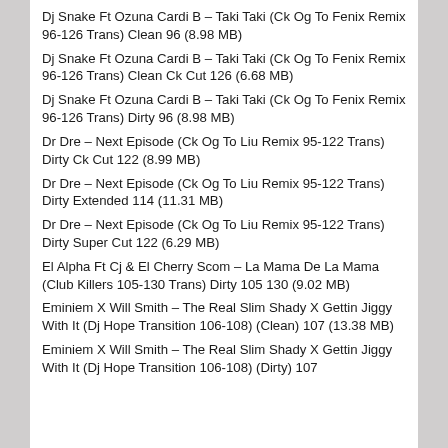Dj Snake Ft Ozuna Cardi B – Taki Taki (Ck Og To Fenix Remix 96-126 Trans) Clean 96 (8.98 MB)
Dj Snake Ft Ozuna Cardi B – Taki Taki (Ck Og To Fenix Remix 96-126 Trans) Clean Ck Cut 126 (6.68 MB)
Dj Snake Ft Ozuna Cardi B – Taki Taki (Ck Og To Fenix Remix 96-126 Trans) Dirty 96 (8.98 MB)
Dr Dre – Next Episode (Ck Og To Liu Remix 95-122 Trans) Dirty Ck Cut 122 (8.99 MB)
Dr Dre – Next Episode (Ck Og To Liu Remix 95-122 Trans) Dirty Extended 114 (11.31 MB)
Dr Dre – Next Episode (Ck Og To Liu Remix 95-122 Trans) Dirty Super Cut 122 (6.29 MB)
El Alpha Ft Cj & El Cherry Scom – La Mama De La Mama (Club Killers 105-130 Trans) Dirty 105 130 (9.02 MB)
Eminiem X Will Smith – The Real Slim Shady X Gettin Jiggy With It (Dj Hope Transition 106-108) (Clean) 107 (13.38 MB)
Eminiem X Will Smith – The Real Slim Shady X Gettin Jiggy With It (Dj Hope Transition 106-108) (Dirty) 107 (13.38 MB)